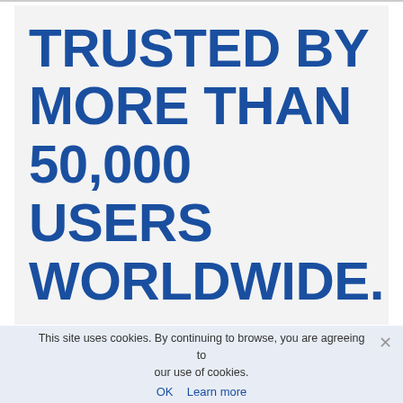TRUSTED BY MORE THAN 50,000 USERS WORLDWIDE.
This site uses cookies. By continuing to browse, you are agreeing to our use of cookies.
OK   Learn more